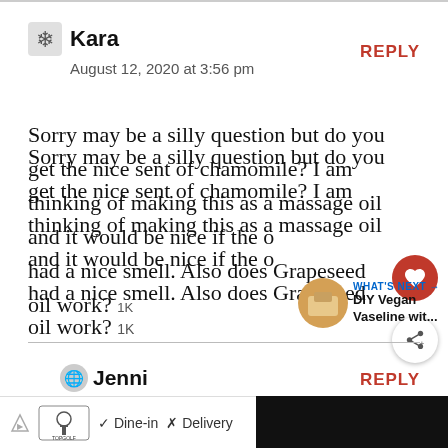Kara
August 12, 2020 at 3:56 pm
REPLY
Sorry may be a silly question but do you get the nice sent of chamomile? I am thinking of making this as a massage oil and it would be nice if the oil had a nice smell. Also does Grapeseed oil work? 1K
Jenni
REPLY
[Figure (screenshot): Ad bar at bottom: Topgolf logo with Dine-in checkmark and Delivery X marks, navigation arrow icon, and dark panel on right.]